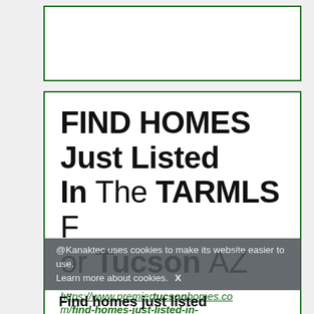[Figure (screenshot): Top card area - white box with green border, partially visible]
FIND HOMES Just Listed In The TARMLS For Tucson AZ
https://www.premiertucsonhomes.com/find-homes-just-listed-in-tucson-az
@Kanaktec uses cookies to make its website easier to use. Learn more about cookies. X
Find homes just listed